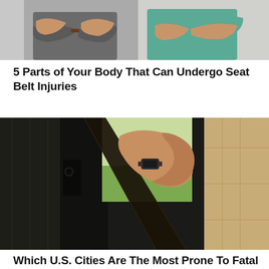[Figure (photo): Two people standing with arms crossed, one in a dark grey shirt and one in a teal/green top, cropped at mid-body level]
5 Parts of Your Body That Can Undergo Seat Belt Injuries
[Figure (photo): A person's arm and hand fastening a seat belt inside a car, wearing a watch, with car seats visible in the background]
Which U.S. Cities Are The Most Prone To Fatal Accidents?